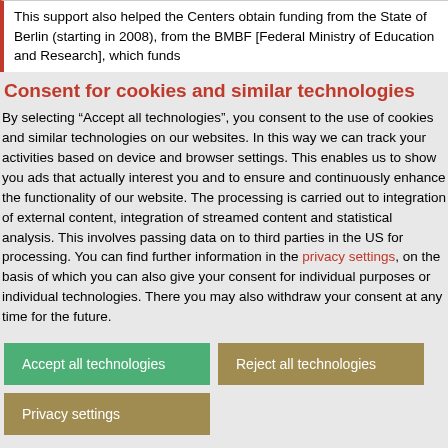This support also helped the Centers obtain funding from the State of Berlin (starting in 2008), from the BMBF [Federal Ministry of Education and Research], which funds
Consent for cookies and similar technologies
By selecting “Accept all technologies”, you consent to the use of cookies and similar technologies on our websites. In this way we can track your activities based on device and browser settings. This enables us to show you ads that actually interest you and to ensure and continuously enhance the functionality of our website. The processing is carried out to integration of external content, integration of streamed content and statistical analysis. This involves passing data on to third parties in the US for processing. You can find further information in the privacy settings, on the basis of which you can also give your consent for individual purposes or individual technologies. There you may also withdraw your consent at any time for the future.
Accept all technologies
Reject all technologies
Privacy settings